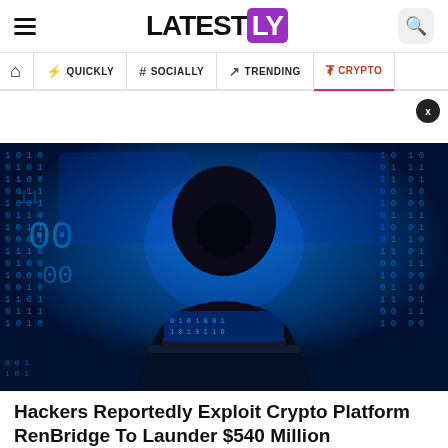LATEST LY — navigation: Home, Quickly, Socially, Trending, Crypto
[Figure (photo): A hooded hacker figure silhouetted against blue binary code displays, sitting at a laptop in a dark environment]
Hackers Reportedly Exploit Crypto Platform RenBridge To Launder $540 Million